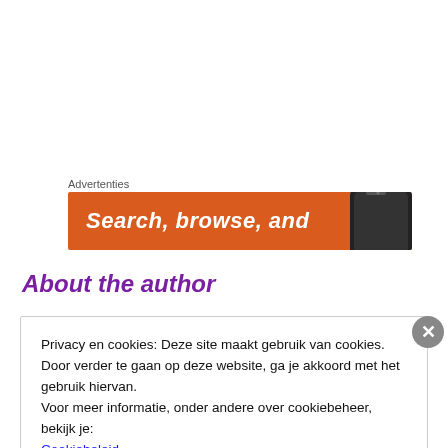Advertenties
[Figure (screenshot): Orange advertisement banner with text 'Search, browse, and' and a smartphone image on the right]
About the author
Privacy en cookies: Deze site maakt gebruik van cookies. Door verder te gaan op deze website, ga je akkoord met het gebruik hiervan.
Voor meer informatie, onder andere over cookiebeheer, bekijk je: Cookiebeleid
Sluiten en bevestigen